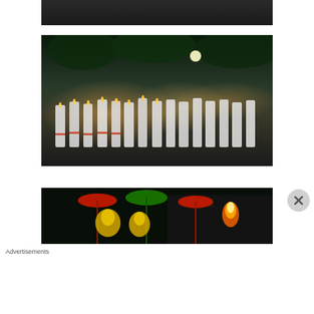[Figure (photo): Partial view of a photo at top of page showing people in traditional dress, cropped to just top edge]
[Figure (photo): Night photograph of a large group of women in white saris with red borders holding candles/lamps, gathered outdoors under trees at what appears to be a religious procession or festival]
[Figure (photo): Night photograph of a Hindu religious procession with decorated idols under colorful ceremonial umbrellas and fire torches]
Advertisements
[Figure (screenshot): DuckDuckGo advertisement banner with orange background showing text: Search, browse, and email with more privacy. All in One Free App. With DuckDuckGo logo and phone graphic on the right side.]